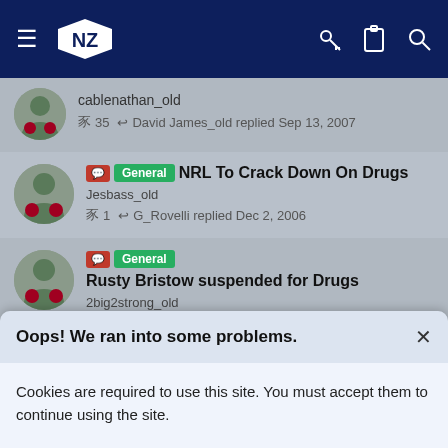NZ Warriors forum navigation bar
cablenathan_old | 35 replies | David James_old replied Sep 13, 2007
General | NRL To Crack Down On Drugs | Jesbass_old | 1 reply | G_Rovelli replied Dec 2, 2006
General | Rusty Bristow suspended for Drugs | 2big2strong_old | 12 replies | kingkole_old replied Nov 4, 2009
Oops! We ran into some problems.
Cookies are required to use this site. You must accept them to continue using the site.